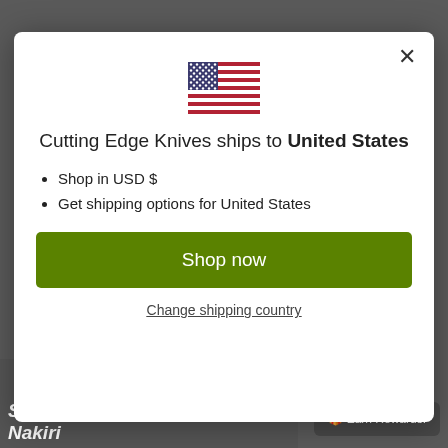[Figure (screenshot): Website popup/modal overlay on a dark background showing a knife product page beneath]
[Figure (illustration): USA flag emoji icon centered in the modal]
Cutting Edge Knives ships to United States
Shop in USD $
Get shipping options for United States
Shop now
Change shipping country
🎁 Earn Rewards!
Sakai Takayuki Moo... Nakiri